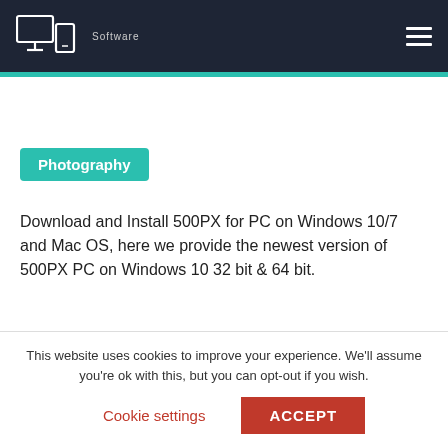Software logo — hamburger menu
[Figure (other): Teal horizontal accent bar below header]
Photography
Download and Install 500PX for PC on Windows 10/7 and Mac OS, here we provide the newest version of 500PX PC on Windows 10 32 bit & 64 bit.
[Figure (screenshot): Black image placeholder for 500PX app screenshot]
| Developer |
| --- |
| 500px |
This website uses cookies to improve your experience. We'll assume you're ok with this, but you can opt-out if you wish.
Cookie settings   ACCEPT